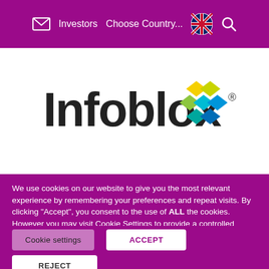Investors   Choose Country...   [UK flag]   [Search]
[Figure (logo): Infoblox logo — wordmark 'Infoblox' in dark gray with colorful diamond grid icon (yellow, green, teal, blue diamonds arranged in a 3x3 grid pattern) and registered trademark symbol]
We use cookies on our website to give you the most relevant experience by remembering your preferences and repeat visits. By clicking "Accept", you consent to the use of ALL the cookies. However you may visit Cookie Settings to provide a controlled consent.
Cookie settings
ACCEPT
REJECT